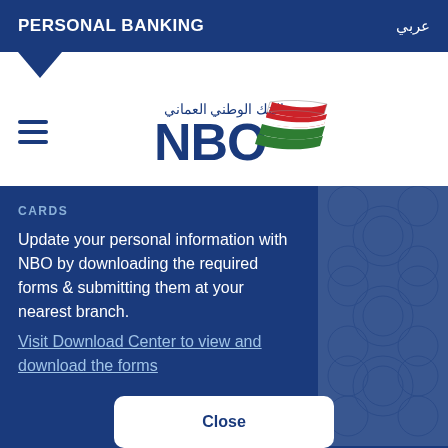PERSONAL BANKING
[Figure (logo): NBO (National Bank of Oman) logo with Arabic text 'البنك الوطني العماني' and stylized flag swoosh graphic]
CARDS
Update your personal information with NBO by downloading the required forms & submitting them at your nearest branch.
Visit Download Center to view and download the forms